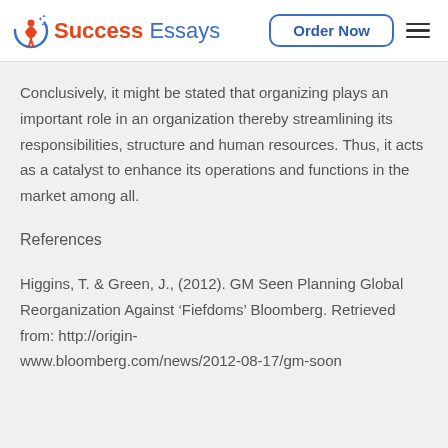Success Essays | Order Now
Conclusively, it might be stated that organizing plays an important role in an organization thereby streamlining its responsibilities, structure and human resources. Thus, it acts as a catalyst to enhance its operations and functions in the market among all.
References
Higgins, T. & Green, J., (2012). GM Seen Planning Global Reorganization Against 'Fiefdoms' Bloomberg. Retrieved from: http://origin-www.bloomberg.com/news/2012-08-17/gm-soon